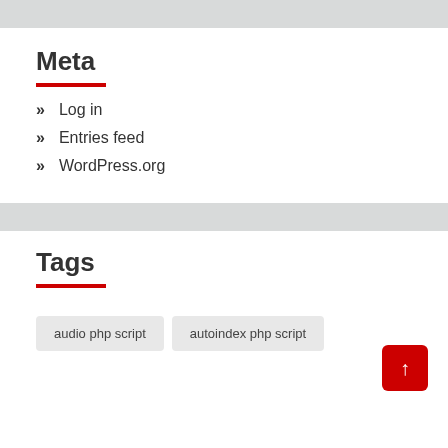Meta
Log in
Entries feed
WordPress.org
Tags
audio php script
autoindex php script